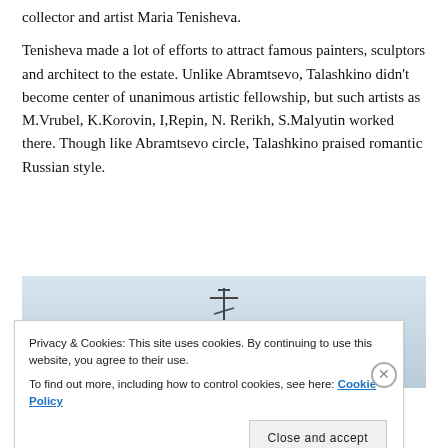collector and artist Maria Tenisheva.
Tenisheva made a lot of efforts to attract famous painters, sculptors and architect to the estate. Unlike Abramtsevo, Talashkino didn't become center of unanimous artistic fellowship, but such artists as M.Vrubel, K.Korovin, I,Repin, N. Rerikh, S.Malyutin worked there. Though like Abramtsevo circle, Talashkino praised romantic Russian style.
[Figure (photo): Photo of a church dome with a cross against a grey sky, partially visible behind a cookie consent banner.]
Privacy & Cookies: This site uses cookies. By continuing to use this website, you agree to their use.
To find out more, including how to control cookies, see here: Cookie Policy
Close and accept